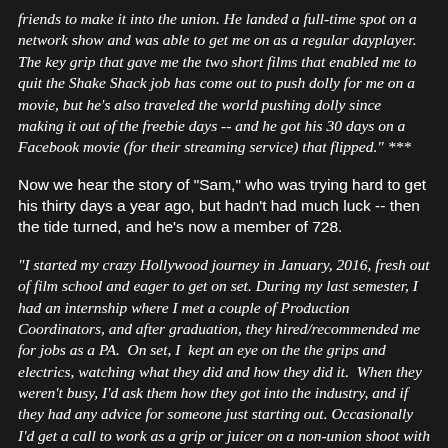friends to make it into the union. He landed a full-time spot on a network show and was able to get me on as a regular dayplayer.  The key grip that gave me the two short films that enabled me to quit the Shake Shack job has come out to push dolly for me on a movie, but he's also traveled the world pushing dolly since making it out of the freebie days -- and he got his 30 days on a Facebook movie (for their streaming service) that flipped." ***
Now we hear the story of "Sam," who was trying hard to get his thirty days a year ago, but hadn't had much luck -- then the tide turned, and he's now a member of 728.
"I started my crazy Hollywood journey in January, 2016, fresh out of film school and eager to get on set. During my last semester, I had an internship where I met a couple of Production Coordinators, and after graduation, they hired/recommended me for jobs as a PA.  On set, I  kept an eye on the the grips and electrics, watching what they did and how they did it.  When they weren't busy, I'd ask them how they got into the industry, and if they had any advice for someone just starting out. Occasionally I'd get a call to work as a grip or juicer on a non-union shoot with some of my ex-classmates who'd made it to LA a year or two before me.  I also tried Craigslist and Mandy.com, but didn't have much